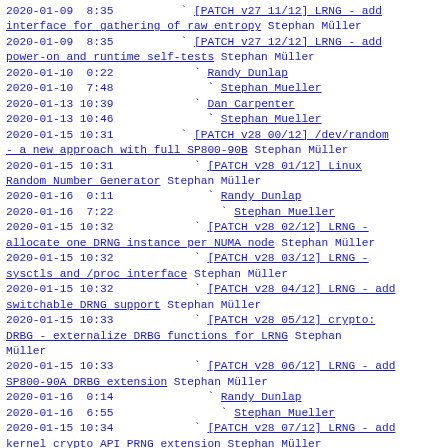2020-01-09  8:35          ` [PATCH v27 11/12] LRNG - add interface for gathering of raw entropy Stephan Müller
2020-01-09  8:35          ` [PATCH v27 12/12] LRNG - add power-on and runtime self-tests Stephan Müller
2020-01-10  0:22            ` Randy Dunlap
2020-01-10  7:48              ` Stephan Mueller
2020-01-13 10:39            ` Dan Carpenter
2020-01-13 10:46              ` Stephan Mueller
2020-01-15 10:31          ` [PATCH v28 00/12] /dev/random - a new approach with full SP800-90B Stephan Müller
2020-01-15 10:31            ` [PATCH v28 01/12] Linux Random Number Generator Stephan Müller
2020-01-16  0:11              ` Randy Dunlap
2020-01-16  7:22                ` Stephan Mueller
2020-01-15 10:32            ` [PATCH v28 02/12] LRNG - allocate one DRNG instance per NUMA node Stephan Müller
2020-01-15 10:32            ` [PATCH v28 03/12] LRNG - sysctls and /proc interface Stephan Müller
2020-01-15 10:32            ` [PATCH v28 04/12] LRNG - add switchable DRNG support Stephan Müller
2020-01-15 10:33            ` [PATCH v28 05/12] crypto: DRBG - externalize DRBG functions for LRNG Stephan Müller
2020-01-15 10:33            ` [PATCH v28 06/12] LRNG - add SP800-90A DRBG extension Stephan Müller
2020-01-16  0:14              ` Randy Dunlap
2020-01-16  6:55                ` Stephan Mueller
2020-01-15 10:34            ` [PATCH v28 07/12] LRNG - add kernel crypto API PRNG extension Stephan Müller
2020-01-16  0:15              ` Randy Dunlap